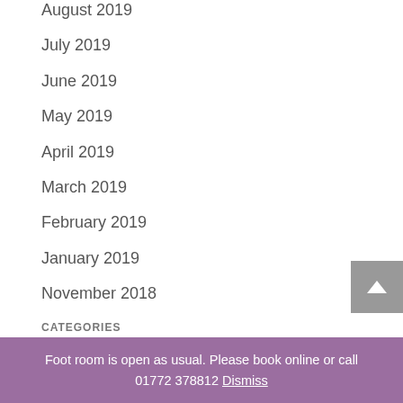August 2019
July 2019
June 2019
May 2019
April 2019
March 2019
February 2019
January 2019
November 2018
CATEGORIES
Blsiters
Foot room is open as usual. Please book online or call 01772 378812 Dismiss